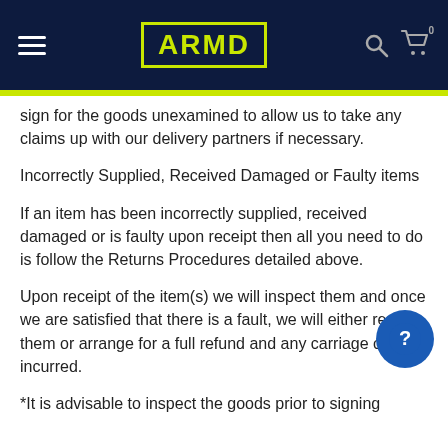ARMD
sign for the goods unexamined to allow us to take any claims up with our delivery partners if necessary.
Incorrectly Supplied, Received Damaged or Faulty items
If an item has been incorrectly supplied, received damaged or is faulty upon receipt then all you need to do is follow the Returns Procedures detailed above.
Upon receipt of the item(s) we will inspect them and once we are satisfied that there is a fault, we will either replace them or arrange for a full refund and any carriage costs incurred.
*It is advisable to inspect the goods prior to signing